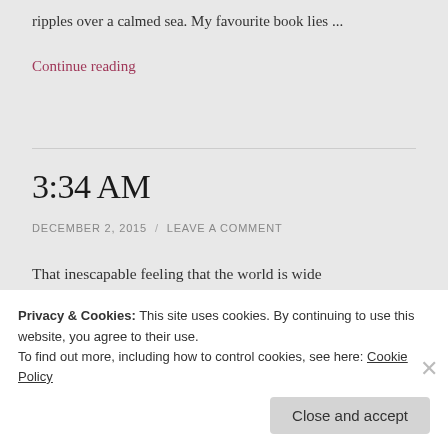ripples over a calmed sea. My favourite book lies ...
Continue reading
3:34 AM
DECEMBER 2, 2015 / LEAVE A COMMENT
That inescapable feeling that the world is wide awake without you. You can hear the gentle
Privacy & Cookies: This site uses cookies. By continuing to use this website, you agree to their use. To find out more, including how to control cookies, see here: Cookie Policy
Close and accept